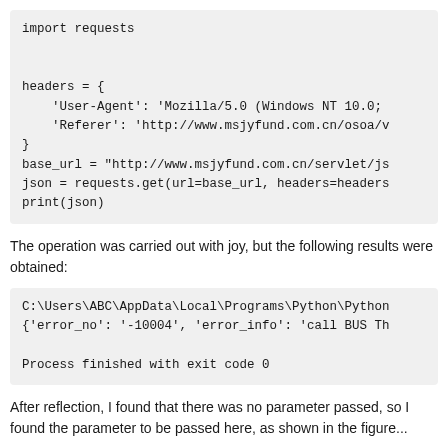import requests

headers = {
    'User-Agent': 'Mozilla/5.0 (Windows NT 10.0;
    'Referer': 'http://www.msjyfund.com.cn/osoa/v
}
base_url = "http://www.msjyfund.com.cn/servlet/js
json = requests.get(url=base_url, headers=headers
print(json)
The operation was carried out with joy, but the following results were obtained:
C:\Users\ABC\AppData\Local\Programs\Python\Python
{'error_no': '-10004', 'error_info': 'call BUS Th

Process finished with exit code 0
After reflection, I found that there was no parameter passed, so I found the parameter to be passed here, as shown in the figure...